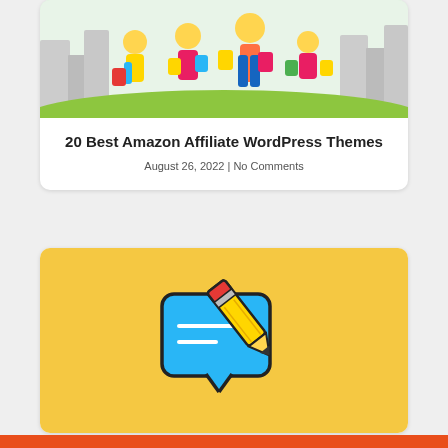[Figure (illustration): Cartoon illustration of a family shopping with colorful bags, city background, on green grass]
20 Best Amazon Affiliate WordPress Themes
August 26, 2022 | No Comments
[Figure (illustration): Icon of a blue speech bubble with a pencil writing on it, on a yellow background]